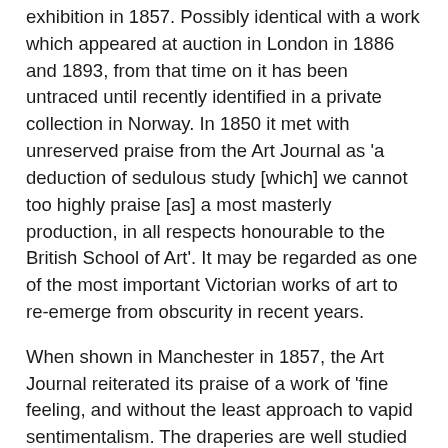exhibition in 1857. Possibly identical with a work which appeared at auction in London in 1886 and 1893, from that time on it has been untraced until recently identified in a private collection in Norway. In 1850 it met with unreserved praise from the Art Journal as 'a deduction of sedulous study [which] we cannot too highly praise [as] a most masterly production, in all respects honourable to the British School of Art'. It may be regarded as one of the most important Victorian works of art to re-emerge from obscurity in recent years.
When shown in Manchester in 1857, the Art Journal reiterated its praise of a work of 'fine feeling, and without the least approach to vapid sentimentalism. The draperies are well studied as to truth of costume, and are rich in colour; the work throughout, in treatment and execution, may not inappropriately be termed Titianesque.' On this second occasion of its being exhibited, the same reviewer explained that 'Mr Dyce has, we believe, repeated this subject four times, with minor alterations, and differing in size.' Among the other versions of the subject are two near replicas of the present composition, the first of which was painted some